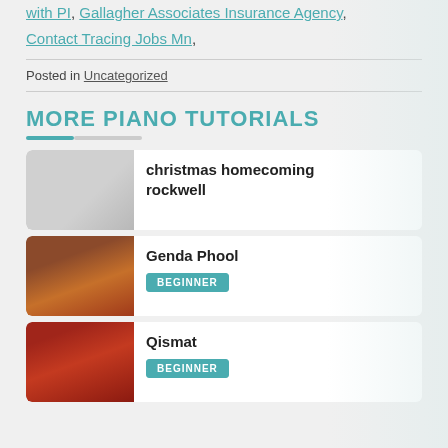with PI, Gallagher Associates Insurance Agency, Contact Tracing Jobs Mn,
Posted in Uncategorized
MORE PIANO TUTORIALS
christmas homecoming rockwell
Genda Phool BEGINNER
Qismat BEGINNER